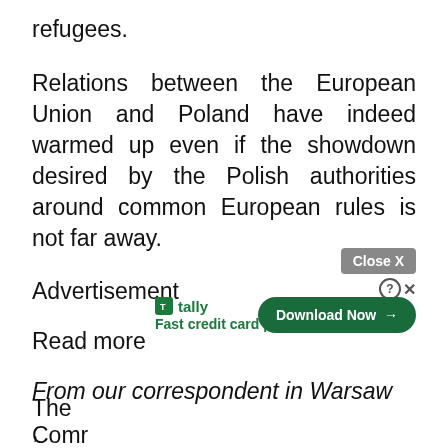refugees.
Relations between the European Union and Poland have indeed warmed up even if the showdown desired by the Polish authorities around common European rules is not far away.
Advertisement
Read more
From our correspondent in Warsaw
,
The [obscured] ...opean Comr... ...ks of